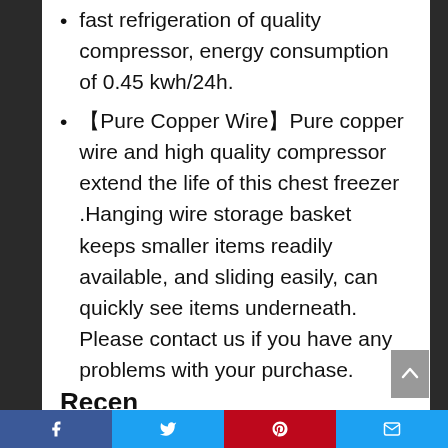fast refrigeration of quality compressor, energy consumption of 0.45 kwh/24h.
【Pure Copper Wire】Pure copper wire and high quality compressor extend the life of this chest freezer .Hanging wire storage basket keeps smaller items readily available, and sliding easily, can quickly see items underneath. Please contact us if you have any problems with your purchase.
Facebook | Twitter | Pinterest | Email